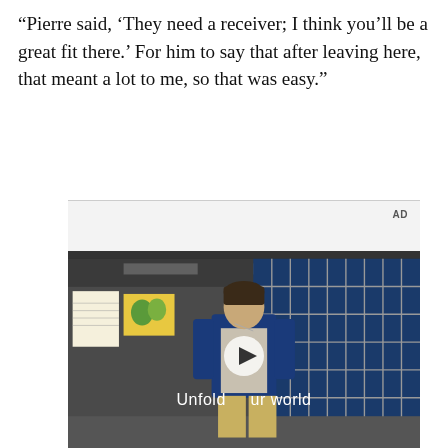“Pierre said, ‘They need a receiver; I think you’ll be a great fit there.’ For him to say that after leaving here, that meant a lot to me, so that was easy.”
[Figure (screenshot): Samsung advertisement with video player showing a young man in a denim jacket walking in a cafeteria-like setting with the text 'Unfold your world', SAMSUNG logo, and tagline 'Bring all your devices']